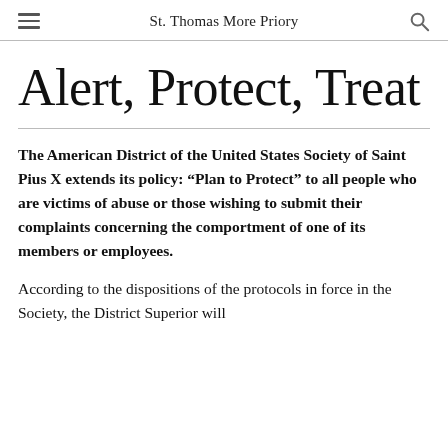St. Thomas More Priory
Alert, Protect, Treat
The American District of the United States Society of Saint Pius X extends its policy: “Plan to Protect” to all people who are victims of abuse or those wishing to submit their complaints concerning the comportment of one of its members or employees.
According to the dispositions of the protocols in force in the Society, the District Superior will